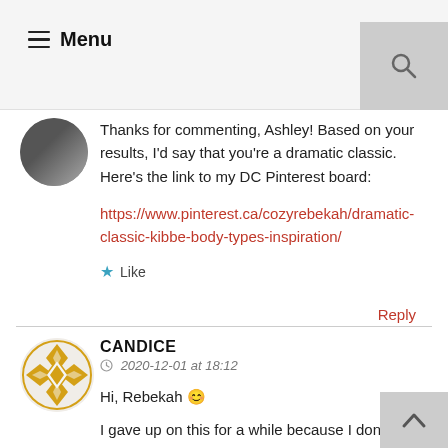Menu
[Figure (photo): Black and white circular avatar photo]
Thanks for commenting, Ashley! Based on your results, I'd say that you're a dramatic classic. Here's the link to my DC Pinterest board:
https://www.pinterest.ca/cozyrebekah/dramatic-classic-kibbe-body-types-inspiration/
Like
Reply
CANDICE
2020-12-01 at 18:12
[Figure (illustration): Orange/gold geometric diamond pattern avatar for Candice]
Hi, Rebekah 😊
I gave up on this for a while because I don't seem to fit any type clearly. My face is very yang but my